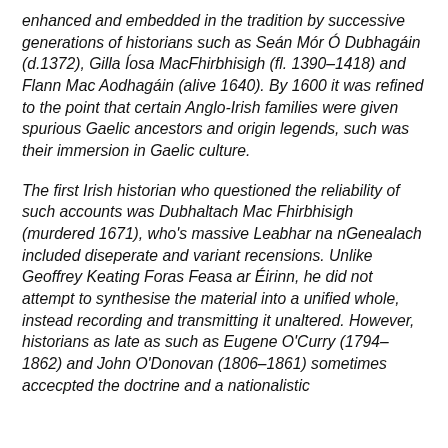enhanced and embedded in the tradition by successive generations of historians such as Seán Mór Ó Dubhagáin (d.1372), Gilla Íosa MacFhirbhisigh (fl. 1390–1418) and Flann Mac Aodhagáin (alive 1640). By 1600 it was refined to the point that certain Anglo-Irish families were given spurious Gaelic ancestors and origin legends, such was their immersion in Gaelic culture.
The first Irish historian who questioned the reliability of such accounts was Dubhaltach Mac Fhirbhisigh (murdered 1671), who's massive Leabhar na nGenealach included diseperate and variant recensions. Unlike Geoffrey Keating Foras Feasa ar Éirinn, he did not attempt to synthesise the material into a unified whole, instead recording and transmitting it unaltered. However, historians as late as such as Eugene O'Curry (1794–1862) and John O'Donovan (1806–1861) sometimes accecpted the doctrine and a nationalistic